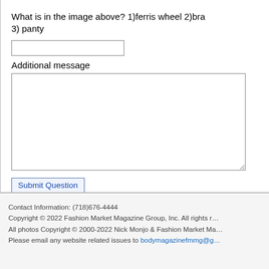What is in the image above? 1)ferris wheel 2)bra 3) panty
Additional message
Submit Question
Contact Information: (718)676-4444
Copyright © 2022 Fashion Market Magazine Group, Inc. All rights r...
All photos Copyright © 2000-2022 Nick Monjo & Fashion Market Ma...
Please email any website related issues to bodymagazinefmmg@g...